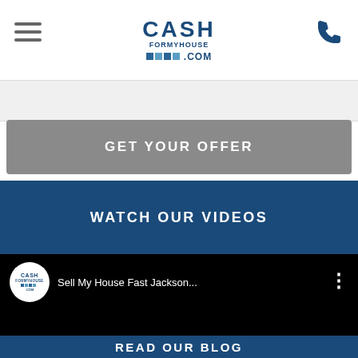CASH FORMYHOUSE .COM
[Figure (screenshot): GET YOUR OFFER button (gray rounded rectangle)]
WATCH OUR VIDEOS
[Figure (screenshot): YouTube video thumbnail showing CashForMyHouse.com logo and title 'Sell My House Fast Jackson...' on black background]
READ OUR BLOG